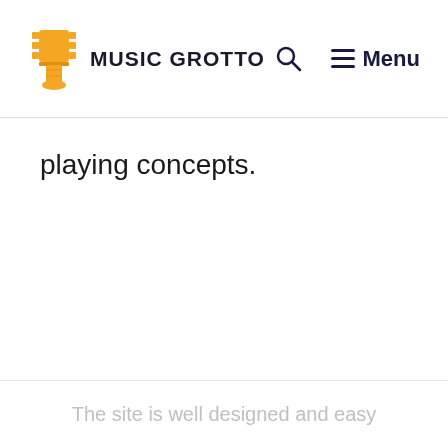MUSIC GROTTO — Search — Menu
playing concepts.
The site is well designed and easy